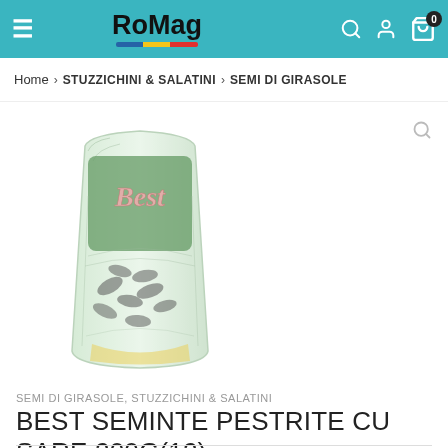RoMag — navigation header with hamburger menu, logo, search, user, and cart icons
Home > STUZZICHINI & SALATINI > SEMI DI GIRASOLE
[Figure (photo): Product photo: a green bag of Best brand striped sunflower seeds (Best Seminte Pestrite) 200g, with sunflower seed graphics on the packaging]
SEMI DI GIRASOLE, STUZZICHINI & SALATINI
BEST SEMINTE PESTRITE CU SARE 200G(12)